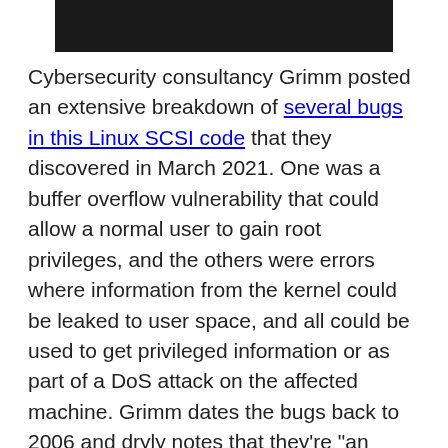[Figure (photo): Black bar/image at the top of the page]
Cybersecurity consultancy Grimm posted an extensive breakdown of several bugs in this Linux SCSI code that they discovered in March 2021. One was a buffer overflow vulnerability that could allow a normal user to gain root privileges, and the others were errors where information from the kernel could be leaked to user space, and all could be used to get privileged information or as part of a DoS attack on the affected machine. Grimm dates the bugs back to 2006 and dryly notes that they're "an indication of a lack of security-conscious programming practices that was prevalent at the time this code